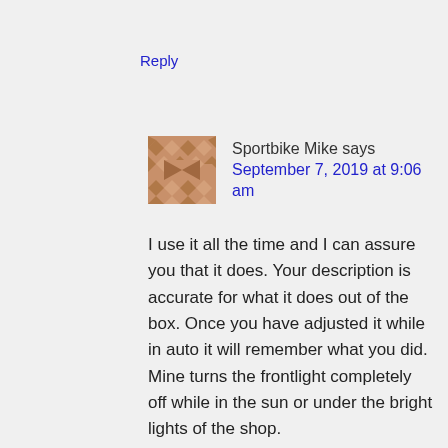Reply
Sportbike Mike says
September 7, 2019 at 9:06 am
I use it all the time and I can assure you that it does. Your description is accurate for what it does out of the box. Once you have adjusted it while in auto it will remember what you did. Mine turns the frontlight completely off while in the sun or under the bright lights of the shop.